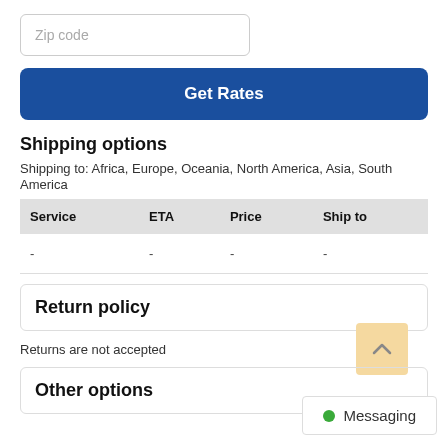Zip code
Get Rates
Shipping options
Shipping to: Africa, Europe, Oceania, North America, Asia, South America
| Service | ETA | Price | Ship to |
| --- | --- | --- | --- |
| - | - | - | - |
Return policy
Returns are not accepted
Other options
Messaging